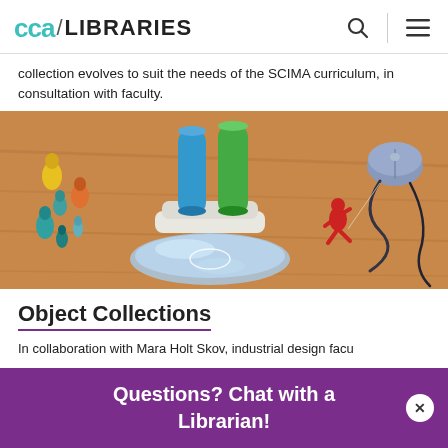CCA / LIBRARIES
collection evolves to suit the needs of the SCIMA curriculum, in consultation with faculty.
[Figure (photo): Photo of various design objects on a wooden table: colorful figurines, cylindrical objects on a white base, a red figure, a blue plastic bag, and a computer mouse with cable.]
Object Collections
In collaboration with Mara Holt Skov, industrial design facu... the ... s an
Questions? Chat with a Librarian!